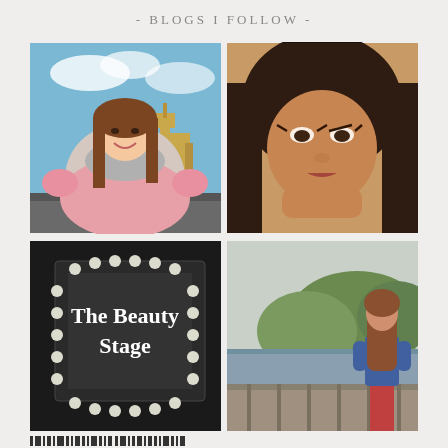- BLOGS I FOLLOW -
[Figure (photo): Young Asian woman smiling with pink mittens, standing in front of Big Ben / Westminster Palace in London on a bright sunny day. She wears a grey scarf and pink coat.]
[Figure (photo): Close-up selfie of a woman with dark hair and striking dark-lined eyes, resting her chin on her hand. Warm vintage-toned filter.]
[Figure (photo): Dark image of a large Hollywood-style vanity mirror with round bulb lights framing it. White serif text reads 'The Beauty Stage' overlaid on the mirror.]
[Figure (photo): A young woman with long hair standing on a balcony or terrace overlooking a river and green hillside. She wears a blue jacket and red skirt. Overcast sky.]
barcode / decorative footer bar